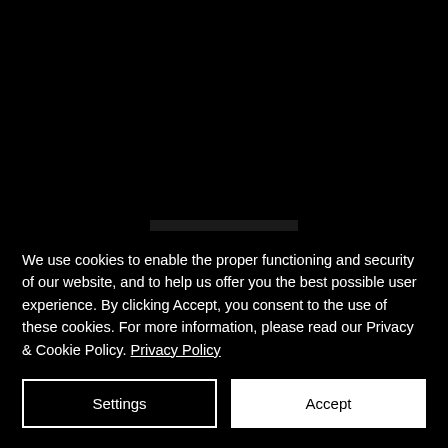[Figure (logo): printprint logo — white bold text on dark background rectangle]
We use cookies to enable the proper functioning and security of our website, and to help us offer you the best possible user experience. By clicking Accept, you consent to the use of these cookies. For more information, please read our Privacy & Cookie Policy. Privacy Policy
Settings
Accept